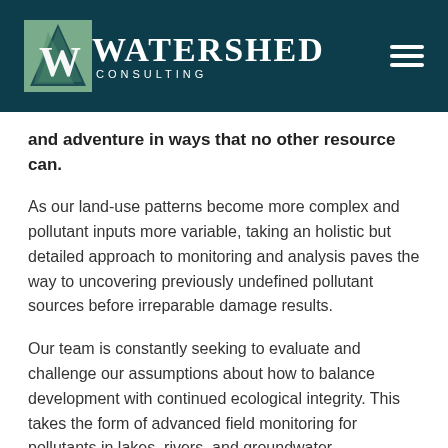Watershed Consulting
and adventure in ways that no other resource can.
As our land-use patterns become more complex and pollutant inputs more variable, taking an holistic but detailed approach to monitoring and analysis paves the way to uncovering previously undefined pollutant sources before irreparable damage results.
Our team is constantly seeking to evaluate and challenge our assumptions about how to balance development with continued ecological integrity. This takes the form of advanced field monitoring for pollutants in lakes, rivers, and groundwater,